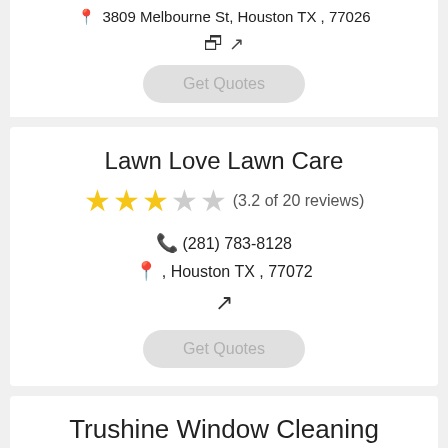3809 Melbourne St, Houston TX, 77026
[external link icon]
Get Quotes
Lawn Love Lawn Care
(3.2 of 20 reviews)
(281) 783-8128
, Houston TX, 77072
[external link icon]
Get Quotes
Trushine Window Cleaning
(4.4 of 9 reviews)